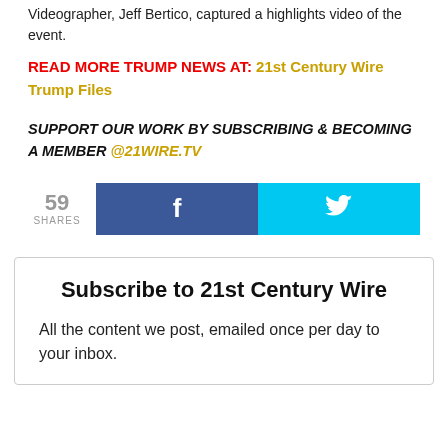Videographer, Jeff Bertico, captured a highlights video of the event.
READ MORE TRUMP NEWS AT: 21st Century Wire Trump Files
SUPPORT OUR WORK BY SUBSCRIBING & BECOMING A MEMBER @21WIRE.TV
[Figure (other): Social share buttons showing 59 shares, Facebook button and Twitter bird button]
Subscribe to 21st Century Wire
All the content we post, emailed once per day to your inbox.